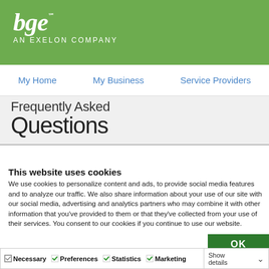bge℠ AN EXELON COMPANY
My Home  My Business  Service Providers
Frequently Asked Questions
This website uses cookies
We use cookies to personalize content and ads, to provide social media features and to analyze our traffic. We also share information about your use of our site with our social media, advertising and analytics partners who may combine it with other information that you've provided to them or that they've collected from your use of their services. You consent to our cookies if you continue to use our website.
OK
Necessary  Preferences  Statistics  Marketing  Show details